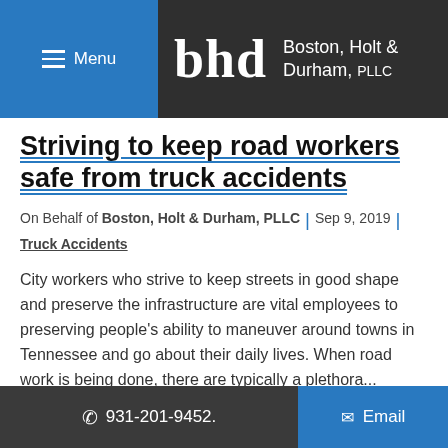Menu | Boston, Holt & Durham, PLLC
Striving to keep road workers safe from truck accidents
On Behalf of Boston, Holt & Durham, PLLC | Sep 9, 2019 | Truck Accidents
City workers who strive to keep streets in good shape and preserve the infrastructure are vital employees to preserving people's ability to maneuver around towns in Tennessee and go about their daily lives. When road work is being done, there are typically a plethora...
931-201-9452.  Email